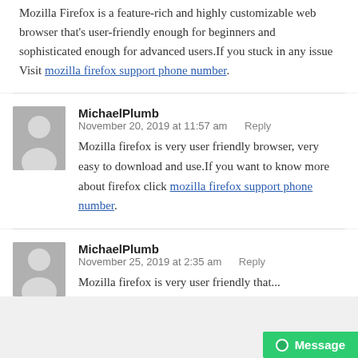Mozilla Firefox is a feature-rich and highly customizable web browser that's user-friendly enough for beginners and sophisticated enough for advanced users.If you stuck in any issue Visit mozilla firefox support phone number.
MichaelPlumb
November 20, 2019 at 11:57 am   Reply
Mozilla firefox is very user friendly browser, very easy to download and use.If you want to know more about firefox click mozilla firefox support phone number.
MichaelPlumb
November 25, 2019 at 2:35 am   Reply
Mozilla firefox...